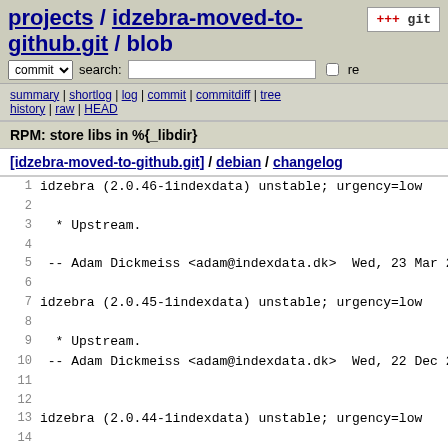projects / idzebra-moved-to-github.git / blob
summary | shortlog | log | commit | commitdiff | tree history | raw | HEAD
RPM: store libs in %{_libdir}
[idzebra-moved-to-github.git] / debian / changelog
1  idzebra (2.0.46-1indexdata) unstable; urgency=low
2
3   * Upstream.
4
5  -- Adam Dickmeiss <adam@indexdata.dk>  Wed, 23 Mar 201
6
7  idzebra (2.0.45-1indexdata) unstable; urgency=low
8
9   * Upstream.
10
11 -- Adam Dickmeiss <adam@indexdata.dk>  Wed, 22 Dec 201
12
13 idzebra (2.0.44-1indexdata) unstable; urgency=low
14
15  * Upstream.
16
17 -- Adam Dickmeiss <adam@indexdata.dk>  Tue, 29 Jun 201
18
19 idzebra (2.0.43-2indexdata) unstable; urgency=low